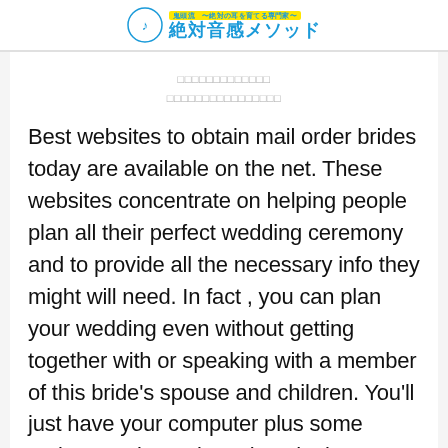鬼頭流 絶対音感メソッド ~絶対の耳を育てる専門家~
□□□□□□□□□□□□□
□□□□□□□□□□□□□□□□
Best websites to obtain mail order brides today are available on the net. These websites concentrate on helping people plan all their perfect wedding ceremony and to provide all the necessary info they might will need. In fact , you can plan your wedding even without getting together with or speaking with a member of this bride's spouse and children. You'll just have your computer plus some patience. Discussing take a look at some popular mailbox